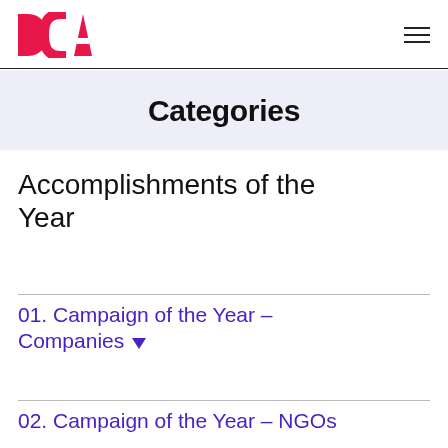DCA [logo] | hamburger menu
Categories
Accomplishments of the Year
01. Campaign of the Year – Companies ▼
02. Campaign of the Year – NGOs